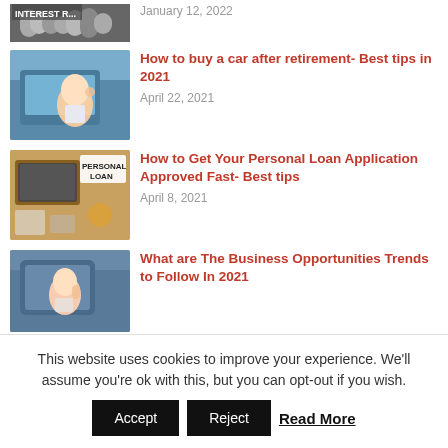[Figure (photo): Coins stacked with interest rate sign, partial view at top]
January 12, 2022
[Figure (photo): Woman sitting in car smiling and waving]
How to buy a car after retirement- Best tips in 2021
April 22, 2021
[Figure (photo): Desk with laptop, coffee, notebook, and PERSONAL LOAN sign]
How to Get Your Personal Loan Application Approved Fast- Best tips
April 8, 2021
[Figure (photo): Woman in car on phone, business context]
What are The Business Opportunities Trends to Follow In 2021
This website uses cookies to improve your experience. We'll assume you're ok with this, but you can opt-out if you wish.